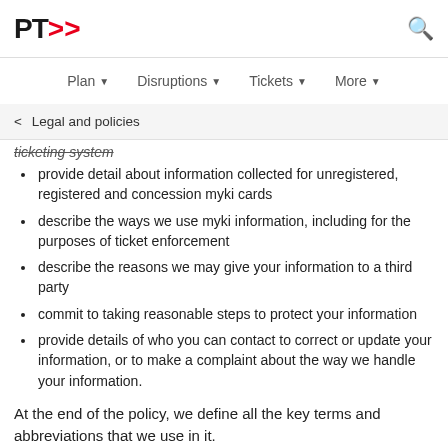PT>> [logo] | [search icon] | Plan | Disruptions | Tickets | More
< Legal and policies
ticketing system
provide detail about information collected for unregistered, registered and concession myki cards
describe the ways we use myki information, including for the purposes of ticket enforcement
describe the reasons we may give your information to a third party
commit to taking reasonable steps to protect your information
provide details of who you can contact to correct or update your information, or to make a complaint about the way we handle your information.
At the end of the policy, we define all the key terms and abbreviations that we use in it.
myki Privacy Policy